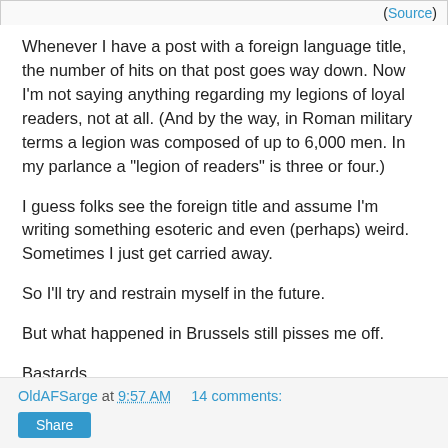(Source)
Whenever I have a post with a foreign language title, the number of hits on that post goes way down. Now I'm not saying anything regarding my legions of loyal readers, not at all. (And by the way, in Roman military terms a legion was composed of up to 6,000 men. In my parlance a "legion of readers" is three or four.)
I guess folks see the foreign title and assume I'm writing something esoteric and even (perhaps) weird. Sometimes I just get carried away.
So I'll try and restrain myself in the future.
But what happened in Brussels still pisses me off.
Bastards.
OldAFSarge at 9:57 AM   14 comments: Share